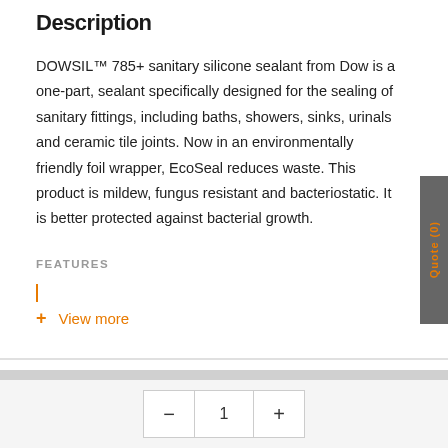Description
DOWSIL™ 785+ sanitary silicone sealant from Dow is a one-part, sealant specifically designed for the sealing of sanitary fittings, including baths, showers, sinks, urinals and ceramic tile joints. Now in an environmentally friendly foil wrapper, EcoSeal reduces waste. This product is mildew, fungus resistant and bacteriostatic. It is better protected against bacterial growth.
FEATURES
View more